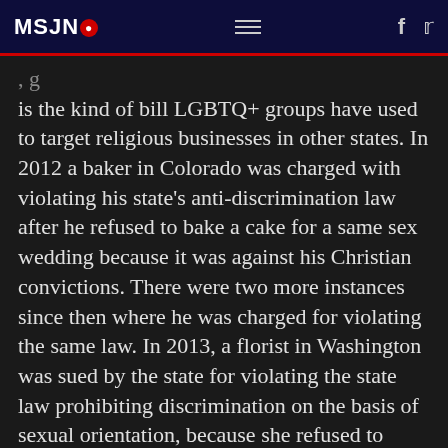MSJNÐ
is the kind of bill LGBTQ+ groups have used to target religious businesses in other states. In 2012 a baker in Colorado was charged with violating his state's anti-discrimination law after he refused to bake a cake for a same sex wedding because it was against his Christian convictions. There were two more instances since then where he was charged for violating the same law. In 2013, a florist in Washington was sued by the state for violating the state law prohibiting discrimination on the basis of sexual orientation, because she refused to design a flower arrangement for a same sex wedding due to her Christian beliefs. According to Fitzgerald the florist is on the verge of losing